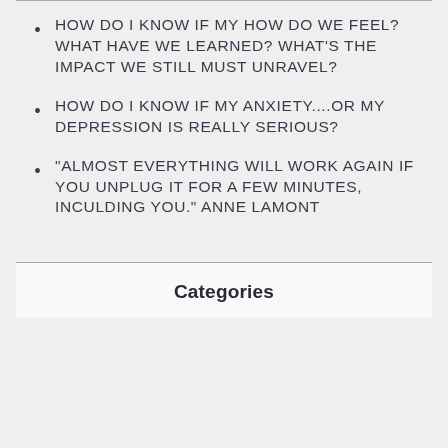HOW DO I KNOW IF MY HOW DO WE FEEL? WHAT HAVE WE LEARNED? WHAT'S THE IMPACT WE STILL MUST UNRAVEL?
HOW DO I KNOW IF MY ANXIETY....OR MY DEPRESSION IS REALLY SERIOUS?
"ALMOST EVERYTHING WILL WORK AGAIN IF YOU UNPLUG IT FOR A FEW MINUTES, INCULDING YOU." ANNE LAMONT
Categories